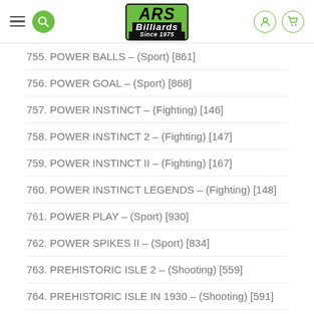ARS Billiards Since 1975
755. POWER BALLS – (Sport) [861]
756. POWER GOAL – (Sport) [868]
757. POWER INSTINCT – (Fighting) [146]
758. POWER INSTINCT 2 – (Fighting) [147]
759. POWER INSTINCT II – (Fighting) [167]
760. POWER INSTINCT LEGENDS – (Fighting) [148]
761. POWER PLAY – (Sport) [930]
762. POWER SPIKES II – (Sport) [834]
763. PREHISTORIC ISLE 2 – (Shooting) [559]
764. PREHISTORIC ISLE IN 1930 – (Shooting) [591]
765. PRETTY SOLDIER SAILOR MOON – (Action)